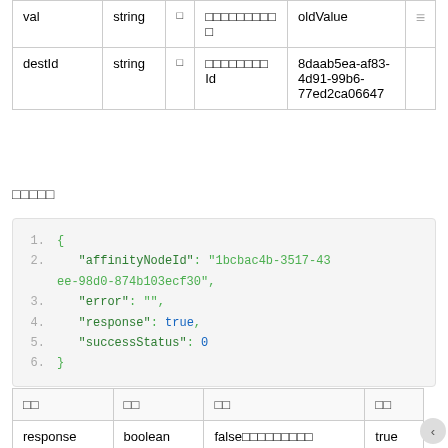| val | string | □ | □□□□□□□□□ | oldValue |
| --- | --- | --- | --- | --- |
| val | string | □ | □□□□□□□□□□ | oldValue |
| destId | string | □ | □□□□□□□□Id | 8daab5ea-af83-4d91-99b6-77ed2ca06647 |
□□□□□
[Figure (screenshot): Code block showing JSON response with affinityNodeId, error, response, successStatus fields]
| □□ | □□ | □□ | □□ |
| --- | --- | --- | --- |
| response | boolean | false□□□□□□□□□ | true |